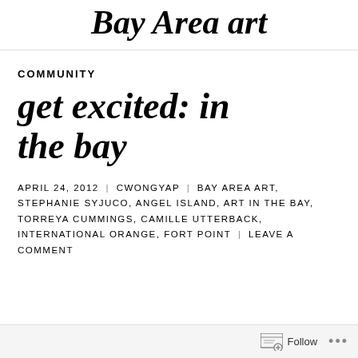Bay Area art
COMMUNITY
get excited: in the bay
APRIL 24, 2012 | CWONGYAP | BAY AREA ART, STEPHANIE SYJUCO, ANGEL ISLAND, ART IN THE BAY, TORREYA CUMMINGS, CAMILLE UTTERBACK, INTERNATIONAL ORANGE, FORT POINT | LEAVE A COMMENT
Follow